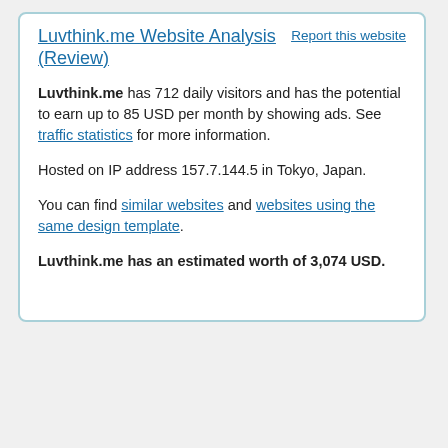Luvthink.me Website Analysis (Review)
Report this website
Luvthink.me has 712 daily visitors and has the potential to earn up to 85 USD per month by showing ads. See traffic statistics for more information.
Hosted on IP address 157.7.144.5 in Tokyo, Japan.
You can find similar websites and websites using the same design template.
Luvthink.me has an estimated worth of 3,074 USD.